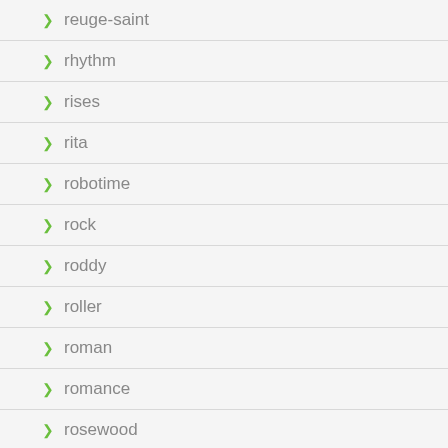reuge-saint
rhythm
rises
rita
robotime
rock
roddy
roller
roman
romance
rosewood
royal